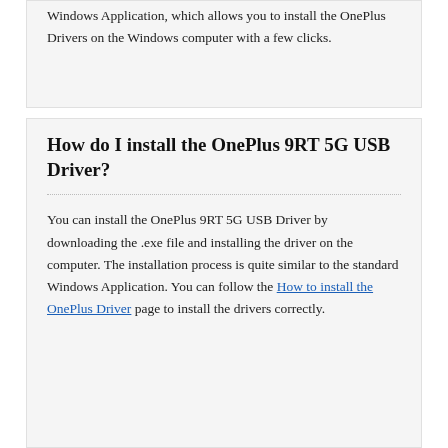Windows Application, which allows you to install the OnePlus Drivers on the Windows computer with a few clicks.
How do I install the OnePlus 9RT 5G USB Driver?
You can install the OnePlus 9RT 5G USB Driver by downloading the .exe file and installing the driver on the computer. The installation process is quite similar to the standard Windows Application. You can follow the How to install the OnePlus Driver page to install the drivers correctly.